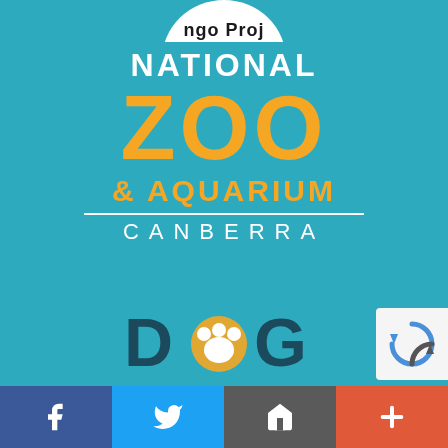[Figure (logo): Partial circular logo at top, showing 'ngo Proj' text arc on white background]
[Figure (logo): National Zoo & Aquarium Canberra logo with white 'NATIONAL', orange 'ZOO', orange '& AQUARIUM', white divider lines, white 'CANBERRA' on teal background]
[Figure (logo): Dog logo partial view at bottom showing 'D', paw print, 'G' in dark teal text on teal background]
[Figure (logo): reCAPTCHA badge in white rounded box, bottom right]
[Figure (infographic): Social media bar at bottom: Facebook (blue), Twitter (blue), Email/house icon (grey), Plus (orange-red)]